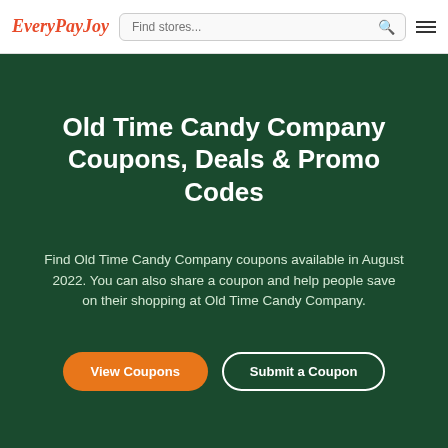EveryPayJoy | Find stores... | menu
Old Time Candy Company Coupons, Deals & Promo Codes
Find Old Time Candy Company coupons available in August 2022. You can also share a coupon and help people save on their shopping at Old Time Candy Company.
View Coupons | Submit a Coupon